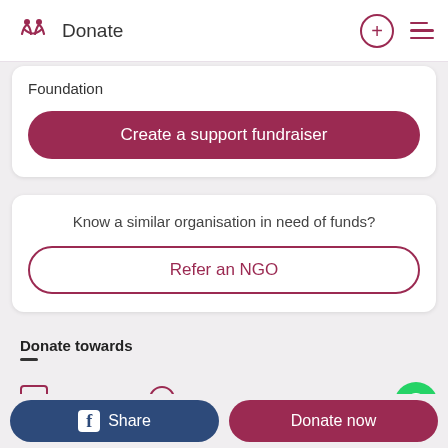Donate
Foundation
Create a support fundraiser
Know a similar organisation in need of funds?
Refer an NGO
Donate towards
Medical   Education
f  Share
Donate now